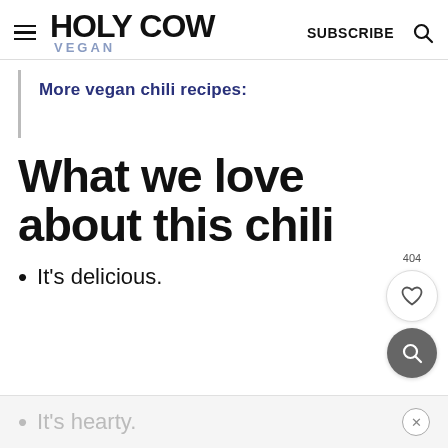Holy Cow Vegan — SUBSCRIBE
More vegan chili recipes:
What we love about this chili
It's delicious.
It's hearty.